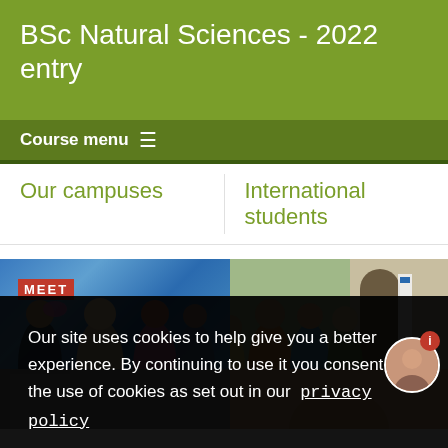BSc Natural Sciences - 2022 entry
Course menu
Our campuses
International students
[Figure (photo): Students gathered at a campus event, with a MEET sign visible on a blue background, showing diverse group of young people]
[Figure (photo): Students on a university campus tour near historic stone archway, with a campus tours banner]
Our site uses cookies to help give you a better experience. By continuing to use it you consent to the use of cookies as set out in our  privacy policy
Close
[Figure (photo): Bottom strip showing two partial campus photos]
[Figure (photo): Chat avatar showing a student representative with a red info badge]